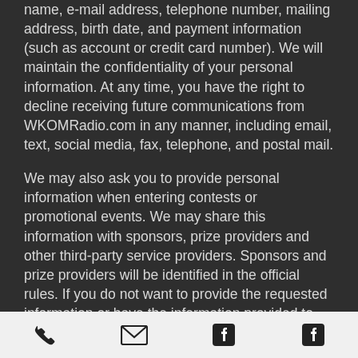name, e-mail address, telephone number, mailing address, birth date, and payment information (such as account or credit card number). We will maintain the confidentiality of your personal information. At any time, you have the right to decline receiving future communications from WKOMRadio.com in any manner, including email, text, social media, fax, telephone, and postal mail.
We may also ask you to provide personal information when entering contests or promotional events. We may share this information with sponsors, prize providers and other third-party service providers. Sponsors and prize providers will be identified in the official rules. If you do not want to provide the requested information or have the information provided to sponsors, prize providers, or other third-party service providers, please do not enter the contest or promotional event. We will need this information to contact you if you win, and we may also use this information for marketing purposes.
[Figure (other): Footer bar with four icons: phone, email (envelope), and two Facebook icons, on a light gray background]